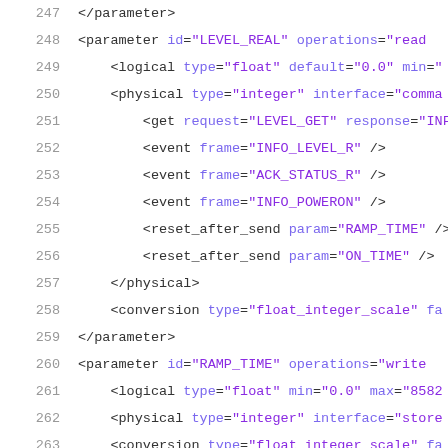XML/code listing lines 247-268 showing parameter definitions with logical, physical, conversion, event, reset_after_send, get elements and their attributes